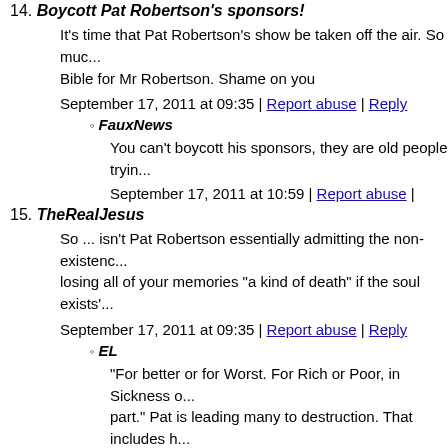14. Boycott Pat Robertson's sponsors!
It's time that Pat Robertson's show be taken off the air. So much... Bible for Mr Robertson. Shame on you
September 17, 2011 at 09:35 | Report abuse | Reply
FauxNews
You can't boycott his sponsors, they are old people trying...
September 17, 2011 at 10:59 | Report abuse |
15. TheRealJesus
So ... isn't Pat Robertson essentially admitting the non-existence... losing all of your memories "a kind of death" if the soul exists...
September 17, 2011 at 09:35 | Report abuse | Reply
EL
"For better or for Worst. For Rich or Poor, in Sickness o... part." Pat is leading many to destruction. That includes h... in the Rapture. (Another subject, for another time.)
September 17, 2011 at 10:17 | Report abuse |
16. Rodger